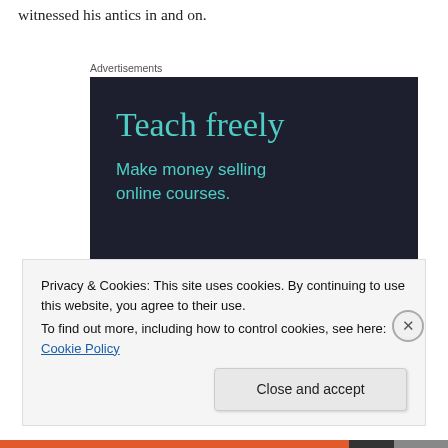witnessed his antics in and on.
[Figure (illustration): Advertisement banner with dark navy background showing 'Teach freely' in teal serif font and 'Make money selling online courses.' in teal sans-serif font below.]
Privacy & Cookies: This site uses cookies. By continuing to use this website, you agree to their use.
To find out more, including how to control cookies, see here: Cookie Policy